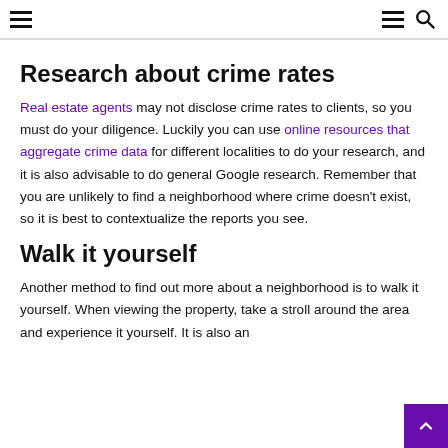≡  ≡ 🔍
Research about crime rates
Real estate agents may not disclose crime rates to clients, so you must do your diligence. Luckily you can use online resources that aggregate crime data for different localities to do your research, and it is also advisable to do general Google research. Remember that you are unlikely to find a neighborhood where crime doesn't exist, so it is best to contextualize the reports you see.
Walk it yourself
Another method to find out more about a neighborhood is to walk it yourself. When viewing the property, take a stroll around the area and experience it yourself. It is also an